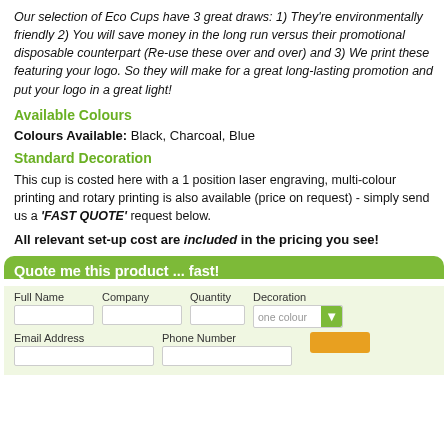Our selection of Eco Cups have 3 great draws: 1) They're environmentally friendly 2) You will save money in the long run versus their promotional disposable counterpart (Re-use these over and over) and 3) We print these featuring your logo. So they will make for a great long-lasting promotion and put your logo in a great light!
Available Colours
Colours Available: Black, Charcoal, Blue
Standard Decoration
This cup is costed here with a 1 position laser engraving, multi-colour printing and rotary printing is also available (price on request) - simply send us a 'FAST QUOTE' request below.
All relevant set-up cost are included in the pricing you see!
Quote me this product ... fast!
Full Name, Company, Quantity, Decoration, Email Address, Phone Number